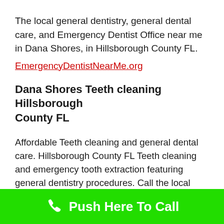The local general dentistry, general dental care, and Emergency Dentist Office near me in Dana Shores, in Hillsborough County FL.
EmergencyDentistNearMe.org
Dana Shores Teeth cleaning Hillsborough County FL
Affordable Teeth cleaning and general dental care. Hillsborough County FL Teeth cleaning and emergency tooth extraction featuring general dentistry procedures. Call the local office to ask dentist questions or schedule an appointment.
Push Here To Call